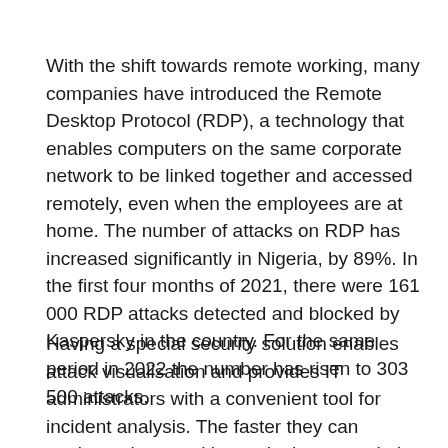With the shift towards remote working, many companies have introduced the Remote Desktop Protocol (RDP), a technology that enables computers on the same corporate network to be linked together and accessed remotely, even when the employees are at home. The number of attacks on RDP has increased significantly in Nigeria, by 89%. In the first four months of 2021, there were 161 000 RDP attacks detected and blocked by Kaspersky in the country. For the same period in 2022 the number has risen to 303 500 attacks.
Having a special security solution enables attack visualisation and provides IT administrators with a convenient tool for incident analysis. The faster they can analyse where and how a leak occurred, the better they will be able to solve any negative consequences. The new edition of Kaspersky